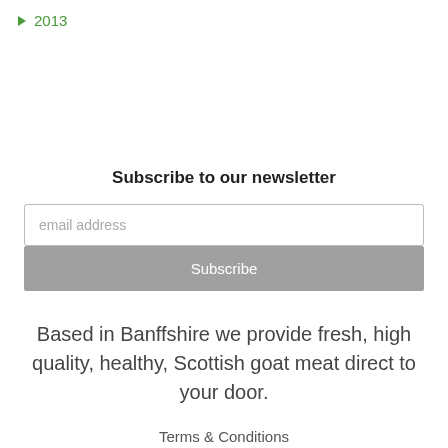▶ 2013
Subscribe to our newsletter
email address
Subscribe
Based in Banffshire we provide fresh, high quality, healthy, Scottish goat meat direct to your door.
Terms & Conditions